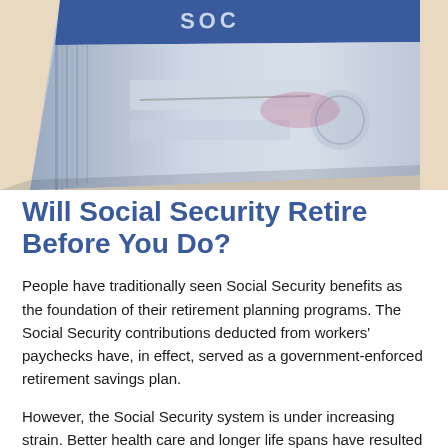[Figure (photo): Close-up photograph of a Social Security card, showing the blue card at an angle with 'SOCIAL' text visible at top and a signature area, against a light beige background.]
Will Social Security Retire Before You Do?
People have traditionally seen Social Security benefits as the foundation of their retirement planning programs. The Social Security contributions deducted from workers' paychecks have, in effect, served as a government-enforced retirement savings plan.
However, the Social Security system is under increasing strain. Better health care and longer life spans have resulted in an increasing